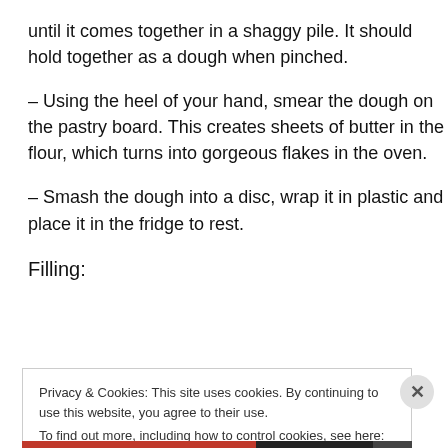until it comes together in a shaggy pile. It should hold together as a dough when pinched.
– Using the heel of your hand, smear the dough on the pastry board. This creates sheets of butter in the flour, which turns into gorgeous flakes in the oven.
– Smash the dough into a disc, wrap it in plastic and place it in the fridge to rest.
Filling:
Privacy & Cookies: This site uses cookies. By continuing to use this website, you agree to their use.
To find out more, including how to control cookies, see here: Cookie Policy